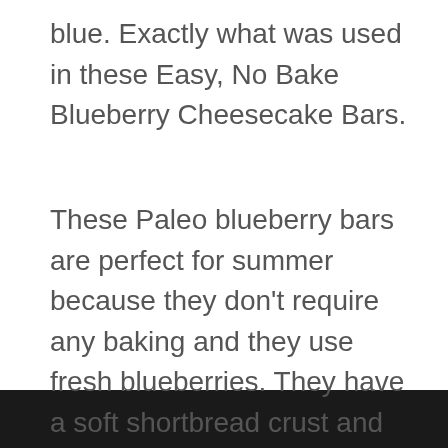blue.  Exactly what was used in these Easy, No Bake Blueberry Cheesecake Bars.
These Paleo blueberry bars are perfect for summer because they don't require any baking and they use fresh blueberries.  They have a soft shortbread crust and creamy coconut filling.  Furthermore, these bars are raw, dairy free, grain free and sweetened with maple syrup.